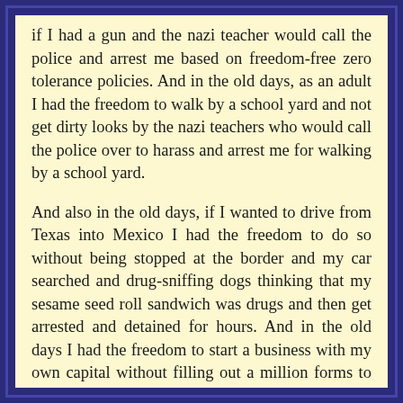if I had a gun and the nazi teacher would call the police and arrest me based on freedom-free zero tolerance policies. And in the old days, as an adult I had the freedom to walk by a school yard and not get dirty looks by the nazi teachers who would call the police over to harass and arrest me for walking by a school yard.
And also in the old days, if I wanted to drive from Texas into Mexico I had the freedom to do so without being stopped at the border and my car searched and drug-sniffing dogs thinking that my sesame seed roll sandwich was drugs and then get arrested and detained for hours. And in the old days I had the freedom to start a business with my own capital without filling out a million forms to send in to non-productive government bureaucrats for their permission for starting a business, and I could do what I wanted with that business (more or less) and not fear that government goons might S.W.A.T. raid me and my employees because of not using the government-approved materials according to stupid.